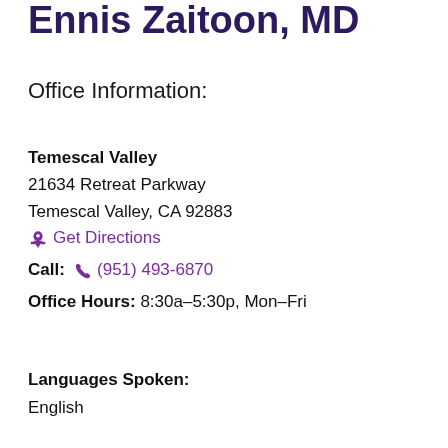Ennis Zaitoon, MD
Office Information:
Temescal Valley
21634 Retreat Parkway
Temescal Valley, CA 92883
Get Directions
Call: (951) 493-6870
Office Hours: 8:30a-5:30p, Mon-Fri
Languages Spoken:
English